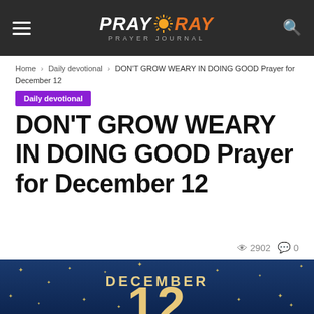PRAY RAY - PRAYER JOURNAL
Home › Daily devotional › DON'T GROW WEARY IN DOING GOOD Prayer for December 12
Daily devotional
DON'T GROW WEARY IN DOING GOOD Prayer for December 12
2902 views, 0 comments
[Figure (illustration): Dark blue background with gold stars and large text reading DECEMBER 12]